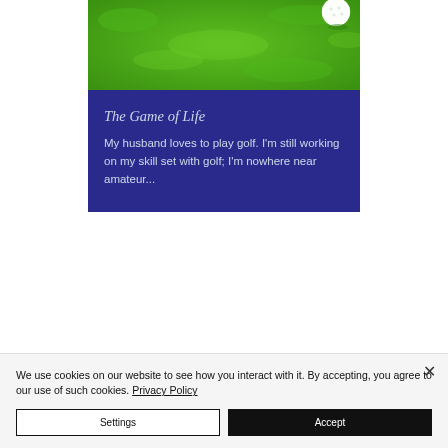[Figure (photo): Photo of green golf course grass with a golf ball visible in the upper right corner on a tee or green.]
The Game of Life
My husband loves to play golf. I'm still working on my skill set with golf; I'm nowhere near amateur...
We use cookies on our website to see how you interact with it. By accepting, you agree to our use of such cookies. Privacy Policy
Settings
Accept